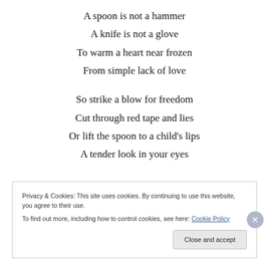A spoon is not a hammer
A knife is not a glove
To warm a heart near frozen
From simple lack of love

So strike a blow for freedom
Cut through red tape and lies
Or lift the spoon to a child's lips
A tender look in your eyes
Privacy & Cookies: This site uses cookies. By continuing to use this website, you agree to their use.
To find out more, including how to control cookies, see here: Cookie Policy
Close and accept